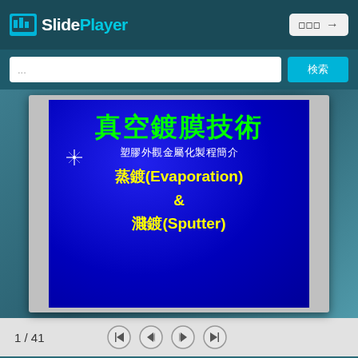SlidePlayer
...
[Figure (screenshot): Slide thumbnail showing '真空鍍膜技術' (Vacuum Coating Technology) presentation cover slide with text: 塑膠外觀金屬化製程簡介, 蒸鍍(Evaporation) & 濺鍍(Sputter). Blue background with green and yellow text.]
1 / 41